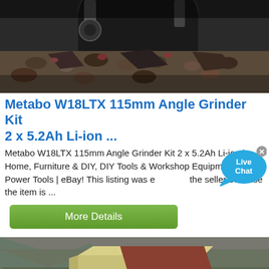[Figure (photo): Close-up photo of crushed rock/gravel material in dark industrial setting with machinery parts visible]
Metabo W18LTX 115mm Angle Grinder Kit 2 x 5.2Ah Li-ion ...
Metabo W18LTX 115mm Angle Grinder Kit 2 x 5.2Ah Li-ion | Home, Furniture & DIY, DIY Tools & Workshop Equipment, Power Tools | eBay! This listing was ended by the seller because the item is ...
[Figure (infographic): Live Chat speech bubble icon in blue with white text]
More Details
[Figure (photo): Large industrial mobile crushing machine/plant (pale yellow) at a quarry site with rocky hillside in the background]